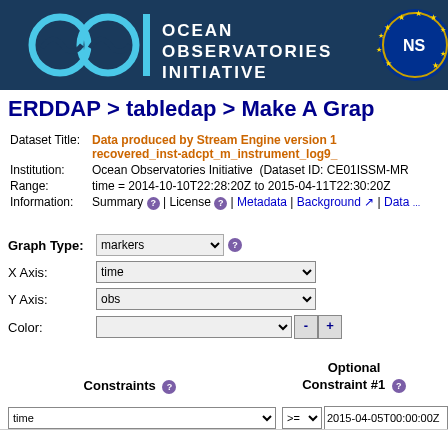[Figure (logo): Ocean Observatories Initiative (OOI) logo with infinity wave symbol and NSF logo on dark blue header bar]
ERDDAP > tabledap > Make A Grap...
Dataset Title: Data produced by Stream Engine version 1... recovered_inst-adcpt_m_instrument_log9_...
Institution: Ocean Observatories Initiative (Dataset ID: CE01ISSM-MR...
Range: time = 2014-10-10T22:28:20Z to 2015-04-11T22:30:20Z
Information: Summary | License | Metadata | Background | Data ...
Graph Type: markers
X Axis: time
Y Axis: obs
Color:
Constraints   Optional Constraint #1
time    >= 2015-04-05T00:00:00Z